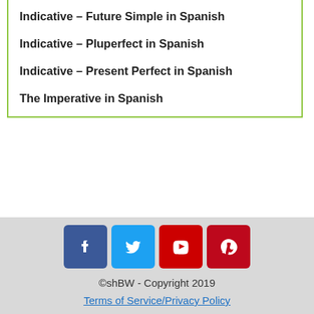Indicative – Future Simple in Spanish
Indicative – Pluperfect in Spanish
Indicative – Present Perfect in Spanish
The Imperative in Spanish
©shBW - Copyright 2019
Terms of Service/Privacy Policy